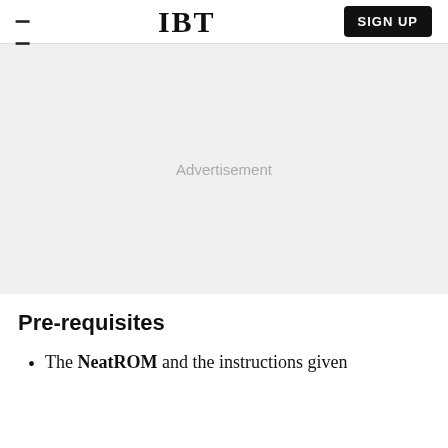IBT   SIGN UP
[Figure (other): Advertisement placeholder area with light gray background and centered text 'Advertisement']
Pre-requisites
The NeatROM and the instructions given